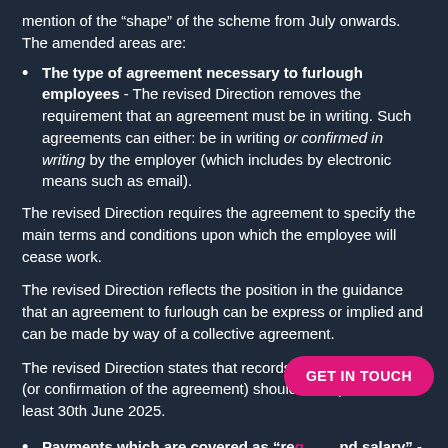mention of the “shape” of the scheme from July onwards. The amended areas are:
The type of agreement necessary to furlough employees - The revised Direction removes the requirement that an agreement must be in writing. Such agreements can either: be in writing or confirmed in writing by the employer (which includes by electronic means such as email).
The revised Direction requires the agreement to specify the main terms and conditions upon which the employee will cease work.
The revised Direction reflects the position in the guidance that an agreement to furlough can be express or implied and can be made by way of a collective agreement.
The revised Direction states that records of the agreement (or confirmation of the agreement) should be kept until at least 30th June 2025.
Payments which are covered as “reg… and salary” - More detail is provided on when amounts…